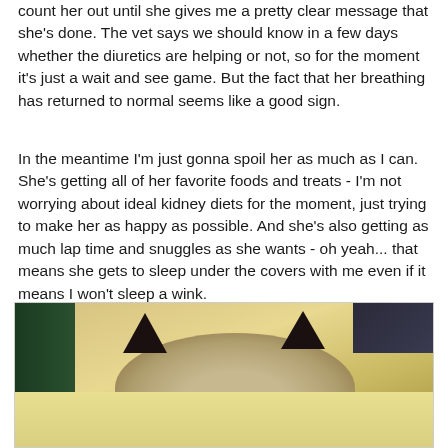count her out until she gives me a pretty clear message that she's done. The vet says we should know in a few days whether the diuretics are helping or not, so for the moment it's just a wait and see game. But the fact that her breathing has returned to normal seems like a good sign.
In the meantime I'm just gonna spoil her as much as I can. She's getting all of her favorite foods and treats - I'm not worrying about ideal kidney diets for the moment, just trying to make her as happy as possible. And she's also getting as much lap time and snuggles as she wants - oh yeah... that means she gets to sleep under the covers with me even if it means I won't sleep a wink.
[Figure (photo): Photo of a Siamese or Himalayan cat sleeping on a yellow/cream colored blanket or pillow, viewed from above. The cat's dark-tipped ears and fluffy fur are visible. There is a dark green object on the left side and dark area in the upper right corner.]